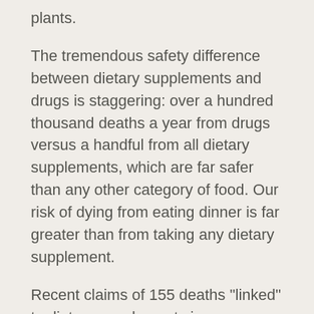plants.
The tremendous safety difference between dietary supplements and drugs is staggering: over a hundred thousand deaths a year from drugs versus a handful from all dietary supplements, which are far safer than any other category of food. Our risk of dying from eating dinner is far greater than from taking any dietary supplement.
Recent claims of 155 deaths "linked" to dietary supplements is nonsense, as clearly stated in the conclusions of the Rand Corporation report that was cited. Those are possible links, not proven. Almost all